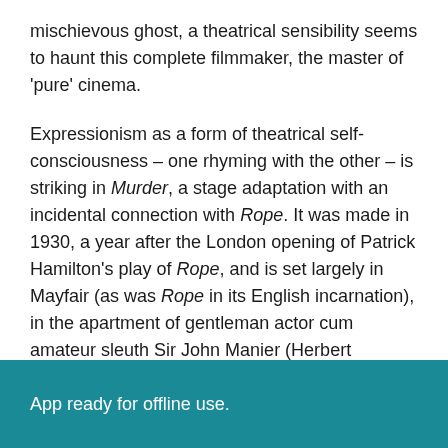mischievous ghost, a theatrical sensibility seems to haunt this complete filmmaker, the master of ‘pure’ cinema.
Expressionism as a form of theatrical self-consciousness – one rhyming with the other – is striking in Murder, a stage adaptation with an incidental connection with Rope. It was made in 1930, a year after the London opening of Patrick Hamilton’s play of Rope, and is set largely in Mayfair (as was Rope in its English incarnation), in the apartment of gentleman actor cum amateur sleuth Sir John Manier (Herbert Marshall). At this stage of his career, Hitchcock’s attention to realistic detail is also evidence of a social consciousness, of a constant comedy of misunderstandings, embarrassment and blocked
App ready for offline use.